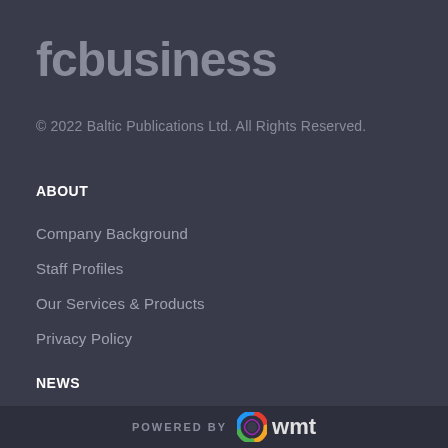fcbusiness
© 2022 Baltic Publications Ltd. All Rights Reserved.
ABOUT
Company Background
Staff Profiles
Our Services & Products
Privacy Policy
NEWS
Football Business News
Interviews & Features
POWERED BY wmt